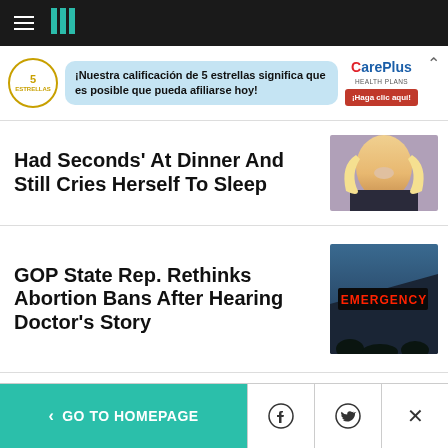HuffPost navigation header with hamburger menu and logo
[Figure (other): CarePlus Health Plans advertisement banner in Spanish: '¡Nuestra calificación de 5 estrellas significa que es posible que pueda afiliarse hoy!' with 5 estrellas logo and ¡Haga clic aquí! button]
Had Seconds' At Dinner And Still Cries Herself To Sleep
[Figure (photo): Photo of a blonde woman with jewelry near a microphone]
GOP State Rep. Rethinks Abortion Bans After Hearing Doctor's Story
[Figure (photo): Photo of an Emergency sign illuminated in red on a dark building at night]
< GO TO HOMEPAGE | Facebook share | Twitter share | Close